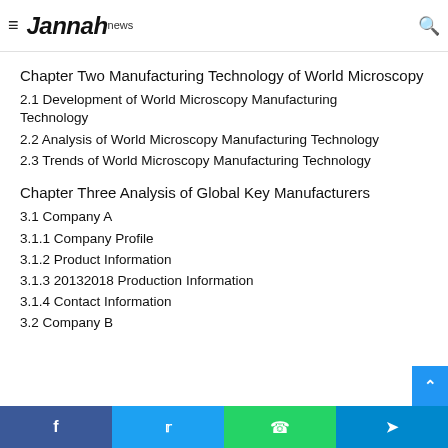Jannah news — navigation bar with hamburger menu and search icon
1.2 Development of World Microscopy Industry
Chapter Two Manufacturing Technology of World Microscopy
2.1 Development of World Microscopy Manufacturing Technology
2.2 Analysis of World Microscopy Manufacturing Technology
2.3 Trends of World Microscopy Manufacturing Technology
Chapter Three Analysis of Global Key Manufacturers
3.1 Company A
3.1.1 Company Profile
3.1.2 Product Information
3.1.3 20132018 Production Information
3.1.4 Contact Information
3.2 Company B
Social share bar: Facebook, Twitter, WhatsApp, Telegram